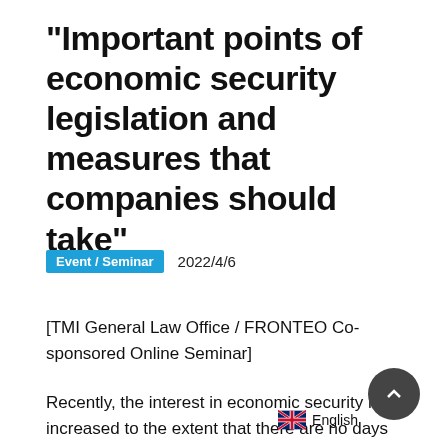"Important points of economic security legislation and measures that companies should take"
Event / Seminar   2022/4/6
[TMI General Law Office / FRONTEO Co-sponsored Online Seminar]
Recently, the interest in economic security has increased to the extent that there are no days that the news about economic security is not available